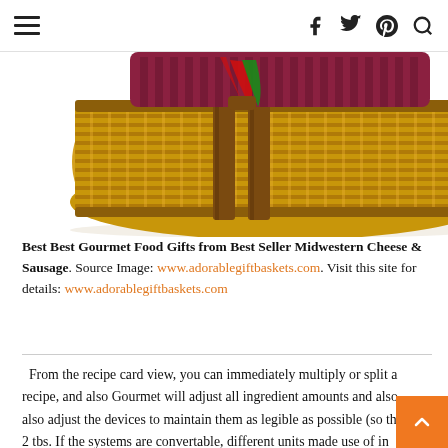≡  f  twitter  pinterest  search
[Figure (photo): A wicker gift basket with a leather strap handle, decorated with red and green ribbons on top, viewed from the front on a white background.]
Best Best Gourmet Food Gifts from Best Seller Midwestern Cheese & Sausage. Source Image: www.adorablegiftbaskets.com. Visit this site for details: www.adorablegiftbaskets.com
From the recipe card view, you can immediately multiply or split a recipe, and also Gourmet will adjust all ingredient amounts and also also adjust the devices to maintain them as legible as possible (so that 2 tbs. If the systems are convertable, different units made use of in various recipes w